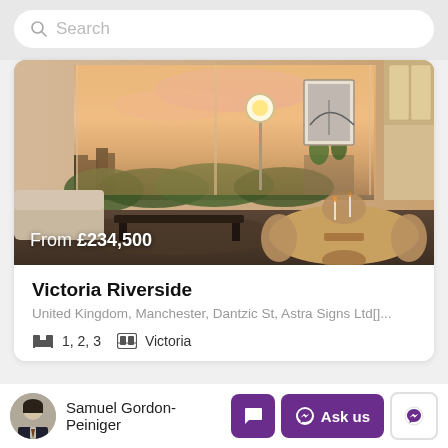Search
[Figure (photo): Interior of a modern apartment living/dining room with large windows showing a sunset skyline, a round dining table with chairs, kitchen in background. Price overlay reads 'From £234,500'.]
Victoria Riverside
United Kingdom, Manchester, Dantzic St, Astra Signs Ltd[]...
1, 2, 3   Victoria
Samuel Gordon-Peiniger
Ask us